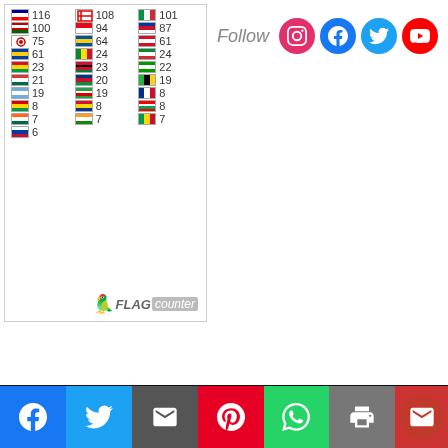[Figure (other): Flag counter widget showing country flags and visit counts in three columns. Left column: 116, 108, 101, 100, 94, 87, 75, 64, 61, 61. Middle column: 24, 24, 23, 23, 22, 21, 20, 19, 19, 19. Right column: 8, 8, 8, 8, 7, 7, 7, 6.]
[Figure (other): Follow social media icons: Instagram, Facebook, Twitter, YouTube]
CONTACT US
Contact Us
SEARCH THIS BLOG
[Figure (other): Bottom share bar with Facebook, Twitter, Email, Pinterest, WhatsApp, Print, and Mail buttons]